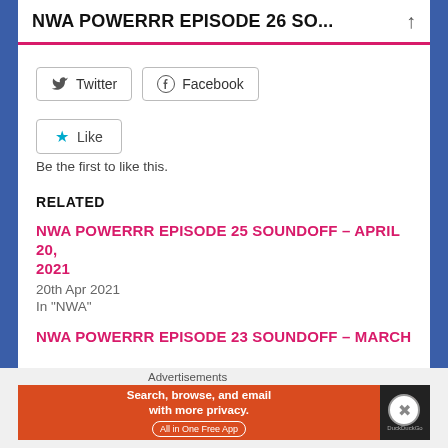NWA POWERRR EPISODE 26 SO...
Twitter  Facebook
Like
Be the first to like this.
RELATED
NWA POWERRR EPISODE 25 SOUNDOFF – APRIL 20, 2021
20th Apr 2021
In "NWA"
NWA POWERRR EPISODE 23 SOUNDOFF – MARCH
Advertisements
Search, browse, and email with more privacy. All in One Free App  DuckDuckGo